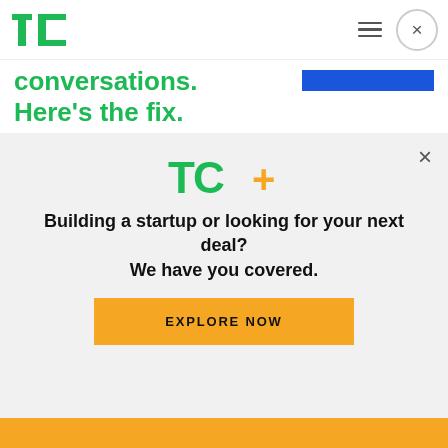TechCrunch logo, hamburger menu, close button
conversations. Here’s the fix.
Sponsored by Nextiva
CornerJob touts “simplicity and immediacy” as the core USP of its matching platform, which does not vet or authenticate the individuals using it but aims
[Figure (logo): TC+ logo with green TC and orange plus sign]
Building a startup or looking for your next deal? We have you covered.
EXPLORE NOW